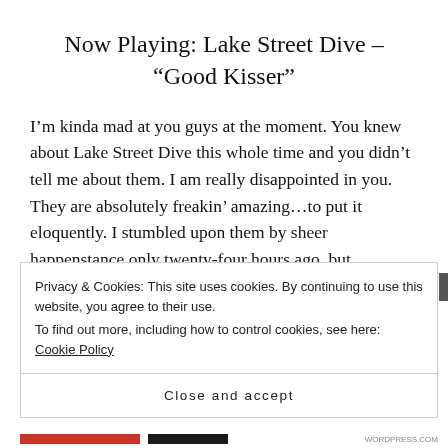Now Playing: Lake Street Dive – “Good Kisser”
I’m kinda mad at you guys at the moment. You knew about Lake Street Dive this whole time and you didn’t tell me about them. I am really disappointed in you. They are absolutely freakin’ amazing…to put it eloquently. I stumbled upon them by sheer happenstance only twenty-four hours ago, but…
Privacy & Cookies: This site uses cookies. By continuing to use this website, you agree to their use.
To find out more, including how to control cookies, see here: Cookie Policy
Close and accept